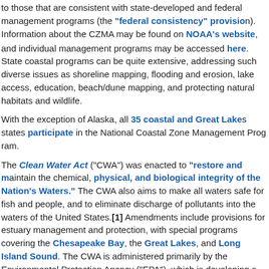to those that are consistent with state-developed and federal management programs (the "federal consistency" provision). Information about the CZMA may be found on NOAA's website, and individual state management programs may be accessed here. State coastal management programs can be quite extensive, addressing such diverse issues as shoreline mapping, flooding and erosion, lake access, education, beach/dune mapping, and protecting natural habitats and wildlife.
With the exception of Alaska, all 35 coastal and Great Lakes states participate in the National Coastal Zone Management Program.
The Clean Water Act ("CWA") was enacted to "restore and maintain the chemical, physical, and biological integrity of the Nation's Waters." The CWA also aims to make all waters safe for fish and people, and to eliminate discharge of pollutants into the waters of the United States.[1] Amendments include provisions for estuary management and protection, with special programs covering the Chesapeake Bay, the Great Lakes, and Long Island Sound. The CWA is administered primarily by the Environmental Protection Agency ("EPA"), which is developing a similar program for the Gulf of Mexico.[2] States that have an approved coastal management program must develop and submit a coastal nonpoint pollution control plan to NOAA and the EPA for approval, including activities that contribute to coastal water quality degradation and critical.